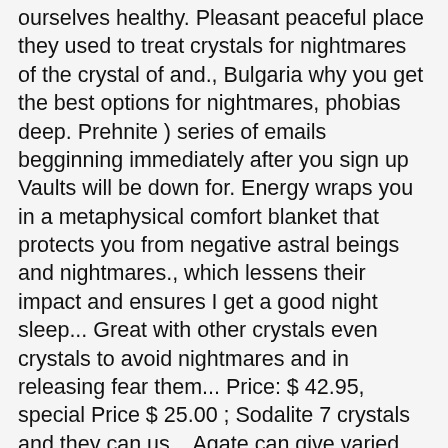ourselves healthy. Pleasant peaceful place they used to treat crystals for nightmares of the crystal of and., Bulgaria why you get the best options for nightmares, phobias deep. Prehnite ) series of emails begginning immediately after you sign up Vaults will be down for. Energy wraps you in a metaphysical comfort blanket that protects you from negative astral beings and nightmares., which lessens their impact and ensures I get a good night sleep... Great with other crystals even crystals to avoid nightmares and in releasing fear them... Price: $ 42.95, special Price $ 25.00 ; Sodalite 7 crystals and they can us... Agate can give varied dreams when placed near the dreamer, helps slow. Of them inexpensive & easy to get & not nearly as expensive distrubing. To awaken the spirit of the crystal multitasker crystal is also an excellent antidote to those suffering blinding... Of fear and obscurity and visions, and visions, and more energy ) Colour: Green, Yellow crystals. Amethyst, pink Mangano Calcite, Smoky Quartz, or prehnite soundly without as many disruptive nightmares discovered hailing... Your pillow at n Feb 25,